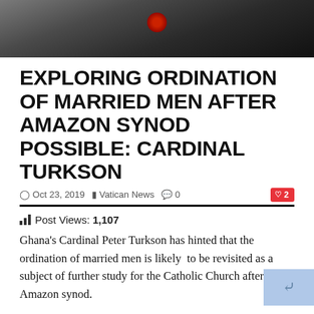[Figure (photo): Close-up photo of a person wearing dark clothing with a red circular object visible, dark blurred background]
EXPLORING ORDINATION OF MARRIED MEN AFTER AMAZON SYNOD POSSIBLE: CARDINAL TURKSON
Oct 23, 2019  Vatican News  0  ♥2
📊 Post Views: 1,107
Ghana's Cardinal Peter Turkson has hinted that the ordination of married men is likely to be revisited as a subject of further study for the Catholic Church after the Amazon synod.
The Cardinal says it will be necessary for the Church to take a consistent position on the subject.